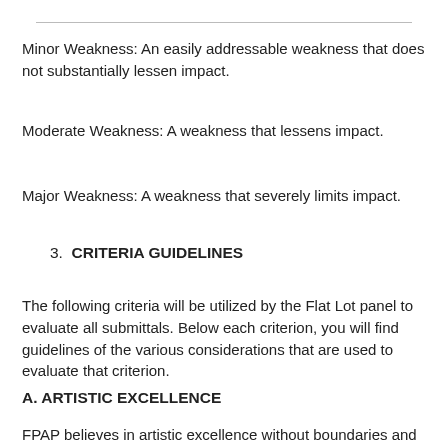Minor Weakness: An easily addressable weakness that does not substantially lessen impact.
Moderate Weakness: A weakness that lessens impact.
Major Weakness: A weakness that severely limits impact.
3. CRITERIA GUIDELINES
The following criteria will be utilized by the Flat Lot panel to evaluate all submittals. Below each criterion, you will find guidelines of the various considerations that are used to evaluate that criterion.
A. ARTISTIC EXCELLENCE
FPAP believes in artistic excellence without boundaries and an